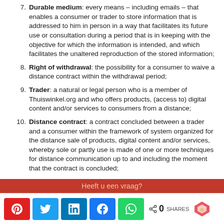7. Durable medium: every means – including emails – that enables a consumer or trader to store information that is addressed to him in person in a way that facilitates its future use or consultation during a period that is in keeping with the objective for which the information is intended, and which facilitates the unaltered reproduction of the stored information;
8. Right of withdrawal: the possibility for a consumer to waive a distance contract within the withdrawal period;
9. Trader: a natural or legal person who is a member of Thuiswinkel.org and who offers products, (access to) digital content and/or services to consumers from a distance;
10. Distance contract: a contract concluded between a trader and a consumer within the framework of system organized for the distance sale of products, digital content and/or services, whereby sole or partly use is made of one or more techniques for distance communication up to and including the moment that the contract is concluded;
11. Model form for right of withdrawal: the European model
Heeft u een vraag?